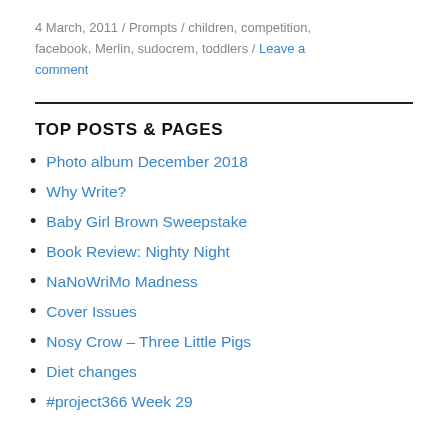4 March, 2011 / Prompts / children, competition, facebook, Merlin, sudocrem, toddlers / Leave a comment
TOP POSTS & PAGES
Photo album December 2018
Why Write?
Baby Girl Brown Sweepstake
Book Review: Nighty Night
NaNoWriMo Madness
Cover Issues
Nosy Crow – Three Little Pigs
Diet changes
#project366 Week 29